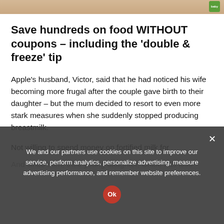[Figure (photo): Partial photo strip at top of page showing a person and a green product label on the right side]
Save hundreds on food WITHOUT coupons – including the 'double & freeze' tip
Apple's husband, Victor, said that he had noticed his wife becoming more frugal after the couple gave birth to their daughter – but the mum decided to resort to even more stark measures when she suddenly stopped producing breastmilk.
Not willing to spend money on fortified milk for
And since then, their young daughter, Chloe has also
We and our partners use cookies on this site to improve our service, perform analytics, personalize advertising, measure advertising performance, and remember website preferences.